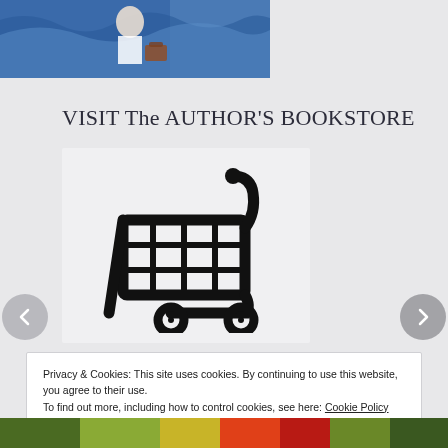[Figure (photo): Partial view of a book cover with blue and white painted waves/ocean scene with a figure, partially cropped at top]
VISIT The AUTHOR'S BOOKSTORE
[Figure (illustration): Shopping cart icon — black line drawing of a grocery/shopping cart with grid basket and two wheels, on light gray background]
Privacy & Cookies: This site uses cookies. By continuing to use this website, you agree to their use.
To find out more, including how to control cookies, see here: Cookie Policy
Close and accept
[Figure (photo): Partial bottom strip of another image showing green, yellow, red colors — appears to be another book cover]